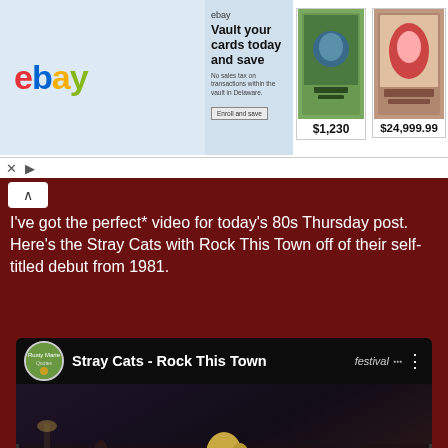[Figure (screenshot): eBay advertisement banner showing 'Vault your cards today and save' with two trading card images priced at $1,230 and $24,999.99]
I've got the perfect* video for today's 80s Thursday post. Here's the Stray Cats with Rock This Town off of their self-titled debut from 1981.
[Figure (screenshot): YouTube embedded video player showing Stray Cats - Rock This Town, with red play button overlay and band members visible in the video thumbnail]